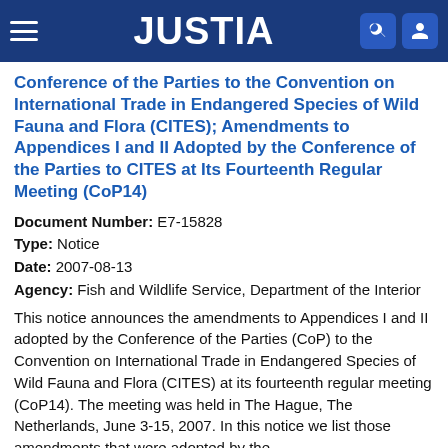JUSTIA
Conference of the Parties to the Convention on International Trade in Endangered Species of Wild Fauna and Flora (CITES); Amendments to Appendices I and II Adopted by the Conference of the Parties to CITES at Its Fourteenth Regular Meeting (CoP14)
Document Number: E7-15828
Type: Notice
Date: 2007-08-13
Agency: Fish and Wildlife Service, Department of the Interior
This notice announces the amendments to Appendices I and II adopted by the Conference of the Parties (CoP) to the Convention on International Trade in Endangered Species of Wild Fauna and Flora (CITES) at its fourteenth regular meeting (CoP14). The meeting was held in The Hague, The Netherlands, June 3-15, 2007. In this notice we list those amendments that were adopted by the